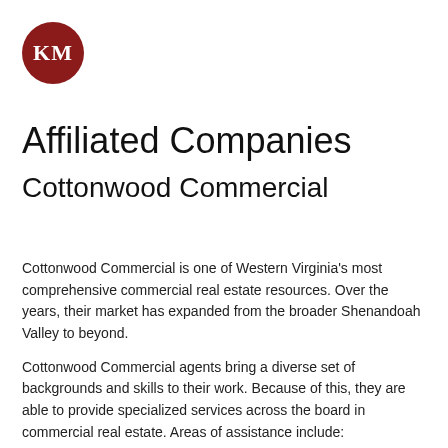[Figure (logo): Dark red circle with white letters KM]
Affiliated Companies
Cottonwood Commercial
Cottonwood Commercial is one of Western Virginia's most comprehensive commercial real estate resources. Over the years, their market has expanded from the broader Shenandoah Valley to beyond.
Cottonwood Commercial agents bring a diverse set of backgrounds and skills to their work. Because of this, they are able to provide specialized services across the board in commercial real estate. Areas of assistance include:
Site selection for national retailers